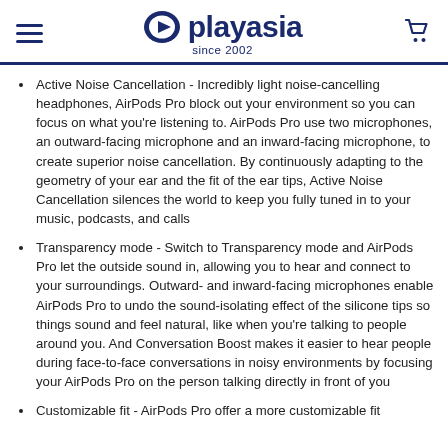playasia since 2002
Active Noise Cancellation - Incredibly light noise-cancelling headphones, AirPods Pro block out your environment so you can focus on what you’re listening to. AirPods Pro use two microphones, an outward-facing microphone and an inward-facing microphone, to create superior noise cancellation. By continuously adapting to the geometry of your ear and the fit of the ear tips, Active Noise Cancellation silences the world to keep you fully tuned in to your music, podcasts, and calls
Transparency mode - Switch to Transparency mode and AirPods Pro let the outside sound in, allowing you to hear and connect to your surroundings. Outward- and inward-facing microphones enable AirPods Pro to undo the sound-isolating effect of the silicone tips so things sound and feel natural, like when you’re talking to people around you. And Conversation Boost makes it easier to hear people during face-to-face conversations in noisy environments by focusing your AirPods Pro on the person talking directly in front of you
Customizable fit - AirPods Pro offer a more customizable fit